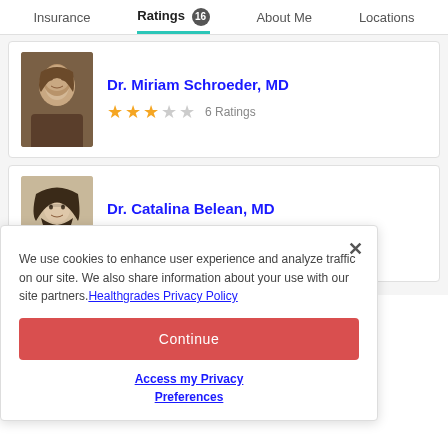Insurance | Ratings 16 | About Me | Locations
Dr. Miriam Schroeder, MD — 3 stars — 6 Ratings
Dr. Catalina Belean, MD — 0 stars — 0 Ratings
We use cookies to enhance user experience and analyze traffic on our site. We also share information about your use with our site partners. Healthgrades Privacy Policy
Continue
Access my Privacy Preferences